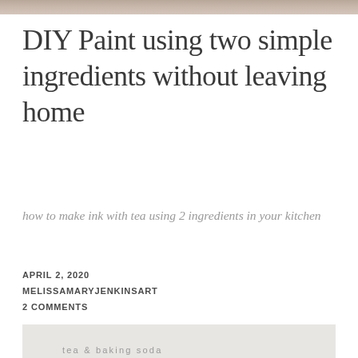[Figure (photo): Top image strip showing a cropped photo scene]
DIY Paint using two simple ingredients without leaving home
how to make ink with tea using 2 ingredients in your kitchen
APRIL 2, 2020
MELISSAMARYJENKINSART
2 COMMENTS
[Figure (photo): Bottom image showing tea & baking soda on a light gray background]